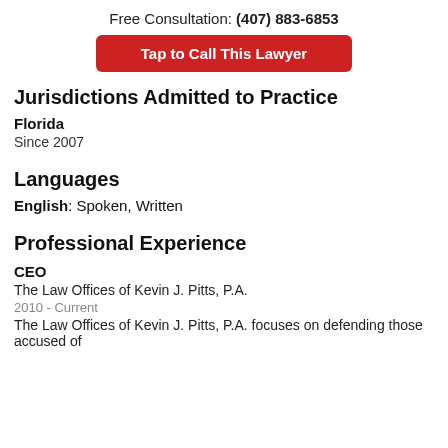Free Consultation: (407) 883-6853
Tap to Call This Lawyer
Jurisdictions Admitted to Practice
Florida
Since 2007
Languages
English: Spoken, Written
Professional Experience
CEO
The Law Offices of Kevin J. Pitts, P.A.
2010 - Current
The Law Offices of Kevin J. Pitts, P.A. focuses on defending those accused of